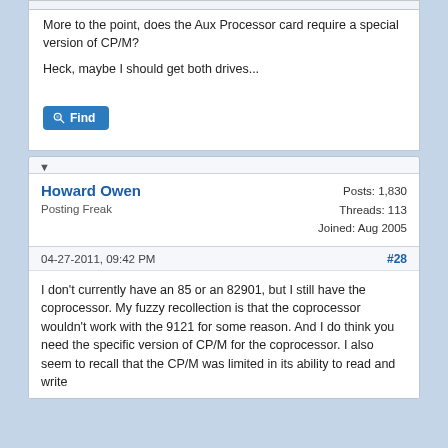More to the point, does the Aux Processor card require a special version of CP/M?
Heck, maybe I should get both drives...
Find
Howard Owen
Posting Freak
Posts: 1,830
Threads: 113
Joined: Aug 2005
04-27-2011, 09:42 PM
#28
I don't currently have an 85 or an 82901, but I still have the coprocessor. My fuzzy recollection is that the coprocessor wouldn't work with the 9121 for some reason. And I do think you need the specific version of CP/M for the coprocessor. I also seem to recall that the CP/M was limited in its ability to read and write data from outside the CP/M environment. E...